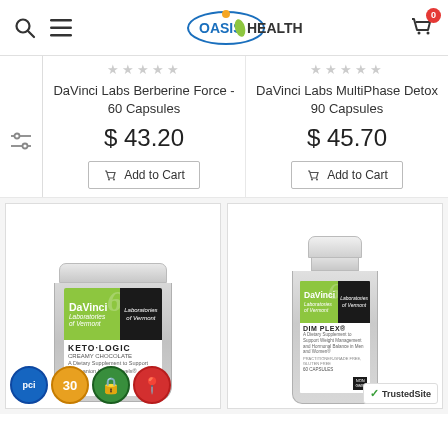Oasis Health — navigation header with search, menu, logo, and cart (0 items)
★★★★★ (empty stars) — DaVinci Labs Berberine Force - 60 Capsules — $ 43.20
Add to Cart
★★★★★ (empty stars) — DaVinci Labs MultiPhase Detox 90 Capsules — $ 45.70
Add to Cart
[Figure (photo): DaVinci Laboratories Keto-Logic Creamy Chocolate supplement jar]
[Figure (photo): DaVinci Laboratories DIM Plex dietary supplement bottle, 60 capsules]